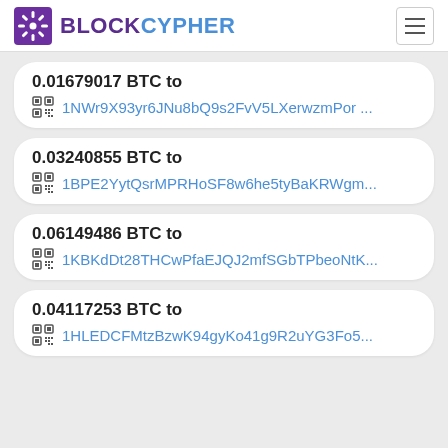BLOCKCYPHER
0.01679017 BTC to 1NWr9X93yr6JNu8bQ9s2FvV5LXerwzmPor ...
0.03240855 BTC to 1BPE2YytQsrMPRHoSF8w6he5tyBaKRWgm...
0.06149486 BTC to 1KBKdDt28THCwPfaEJQJ2mfSGbTPbeoNtK...
0.04117253 BTC to 1HLEDCFMtzBzwK94gyKo41g9R2uYG3Fo5...